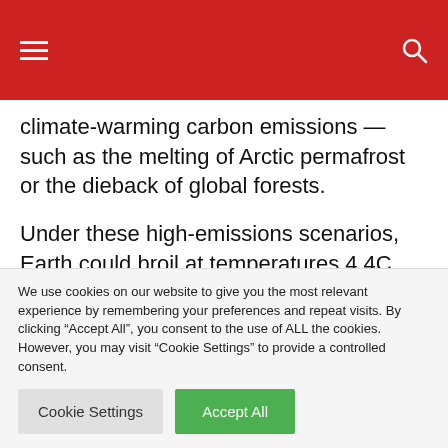climate-warming carbon emissions — such as the melting of Arctic permafrost or the dieback of global forests.
Under these high-emissions scenarios, Earth could broil at temperatures 4.4C above the preindustrial average by the last two decades
We use cookies on our website to give you the most relevant experience by remembering your preferences and repeat visits. By clicking “Accept All”, you consent to the use of ALL the cookies. However, you may visit "Cookie Settings" to provide a controlled consent.